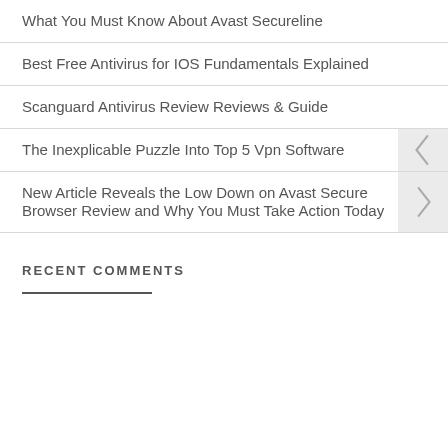What You Must Know About Avast Secureline
Best Free Antivirus for IOS Fundamentals Explained
Scanguard Antivirus Review Reviews & Guide
The Inexplicable Puzzle Into Top 5 Vpn Software
New Article Reveals the Low Down on Avast Secure Browser Review and Why You Must Take Action Today
RECENT COMMENTS